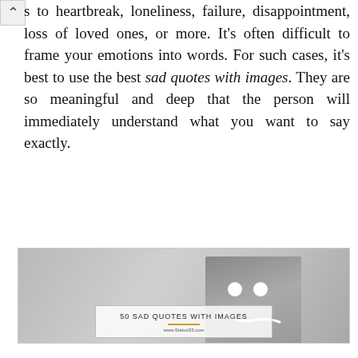s to heartbreak, loneliness, failure, disappointment, loss of loved ones, or more. It's often difficult to frame your emotions into words. For such cases, it's best to use the best sad quotes with images. They are so meaningful and deep that the person will immediately understand what you want to say exactly.
[Figure (photo): Black and white photo of a person holding a gray felt square in front of their face, with white circles for eyes and a white curved line for a frowning mouth drawn on it. An overlay box reads '50 SAD QUOTES WITH IMAGES' with a gold underline and 'www.Status33.com' below.]